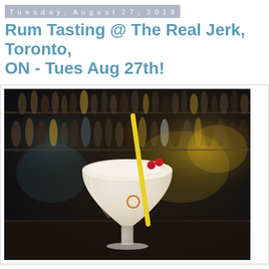Tuesday, August 27, 2019
Rum Tasting @ The Real Jerk, Toronto, ON - Tues Aug 27th!
[Figure (photo): A creamy white cocktail in a large stemmed glass with a yellow straw and red cherry garnish, set against a blurred bar background with many bottles on shelves.]